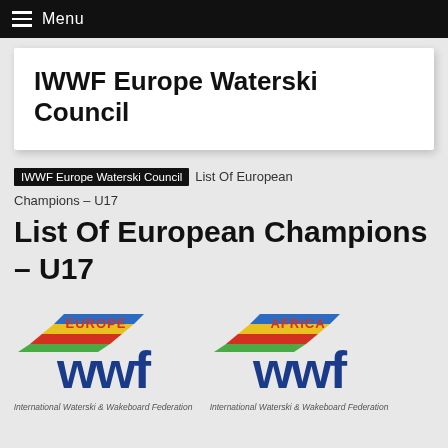≡ Menu
IWWF Europe Waterski Council
IWWF Europe Waterski Council  List Of European Champions – U17
List Of European Champions – U17
[Figure (logo): IWWF Europe logo with 'EUROPE' text above stylized WWF letters and 'International Waterski & Wakeboard Federation' caption below]
[Figure (logo): IWWF Africa logo with 'AFRICA' text above stylized WWF letters and 'International Waterski & Wakeboard Federation' caption below]